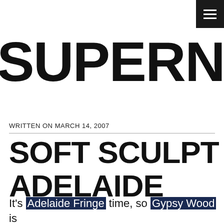SUPERNAUT
WRITTEN ON MARCH 14, 2007
SOFT SCULPT ADELAIDE
It's Adelaide Fringe time, so Gypsy Wood is sitting in the Garden of Unearthly Delights, and